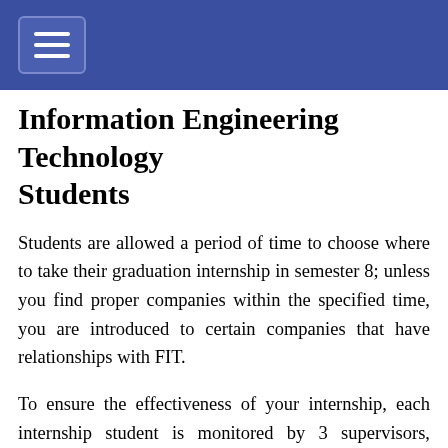Information Engineering Technology Students
Students are allowed a period of time to choose where to take their graduation internship in semester 8; unless you find proper companies within the specified time, you are introduced to certain companies that have relationships with FIT.
To ensure the effectiveness of your internship, each internship student is monitored by 3 supervisors, including: